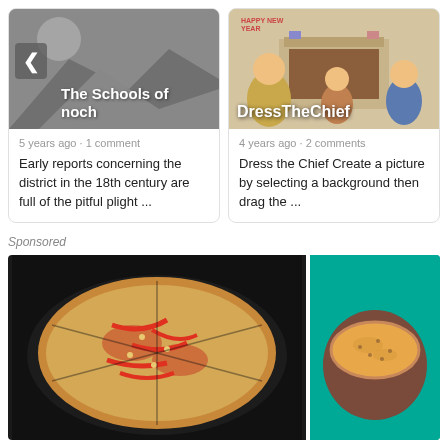[Figure (screenshot): Card with placeholder image showing mountains silhouette in gray, with back chevron button and overlay text 'The Schools of Enoch']
5 years ago • 1 comment
Early reports concerning the district in the 18th century are full of the pitful plight ...
[Figure (illustration): Cartoon illustration of characters near a fireplace with text overlay 'DressTheChief']
4 years ago • 2 comments
Dress the Chief  Create a picture by selecting a background then drag the ...
Sponsored
[Figure (photo): Photo of a pizza with red peppers on a dark pan]
[Figure (photo): Photo of a bowl of soup on teal background]